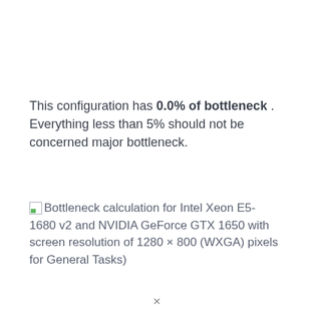This configuration has 0.0% of bottleneck . Everything less than 5% should not be concerned major bottleneck.
Bottleneck calculation for Intel Xeon E5-1680 v2 and NVIDIA GeForce GTX 1650 with screen resolution of 1280 × 800 (WXGA) pixels for General Tasks)